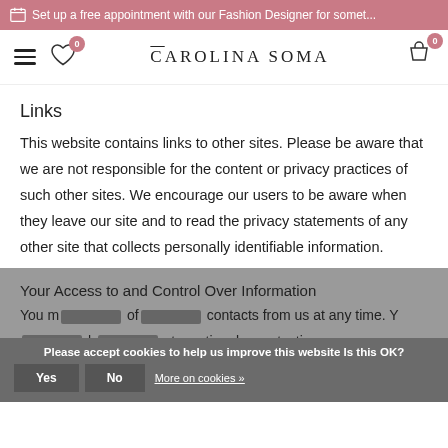Set up a free appointment with our Fashion Designer for somet...
[Figure (screenshot): Carolina Soma website navigation bar with hamburger menu, heart/wishlist icon with badge 0, brand logo CAROLINA SOMA, and cart icon with badge 0]
Links
This website contains links to other sites. Please be aware that we are not responsible for the content or privacy practices of such other sites. We encourage our users to be aware when they leave our site and to read the privacy statements of any other site that collects personally identifiable information.
Your Access to and Control Over Information
You m[redacted] of[redacted] contacts from us at any time. Y[redacted] h[redacted] at any time by contacting us
Please accept cookies to help us improve this website Is this OK? Yes No More on cookies »